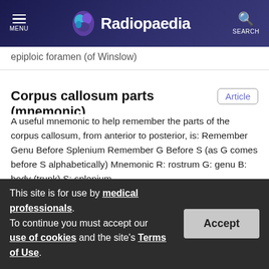MENU | Radiopaedia | SEARCH
epiploic foramen (of Winslow)
Corpus callosum parts (mnemonic)
A useful mnemonic to help remember the parts of the corpus callosum, from anterior to posterior, is: Remember Genu Before Splenium Remember G Before S (as G comes before S alphabetically) Mnemonic R: rostrum G: genu B: body (trunk) S: splenium
Axillary artery branches
This site is for use by medical professionals. To continue you must accept our use of cookies and the site's Terms of Use.